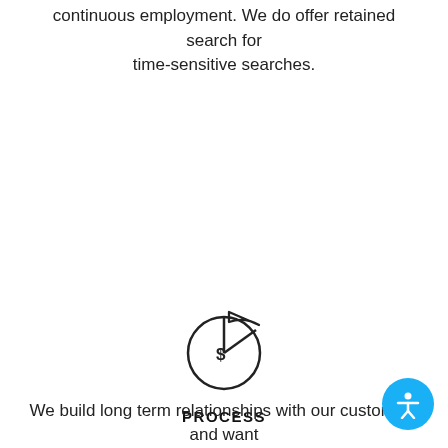continuous employment. We do offer retained search for time-sensitive searches.
[Figure (illustration): A pie chart icon with a dollar sign in the largest slice and a small slice lifted out, drawn with thin black strokes on white background.]
PROCESS
We build long term relationships with our customers and want